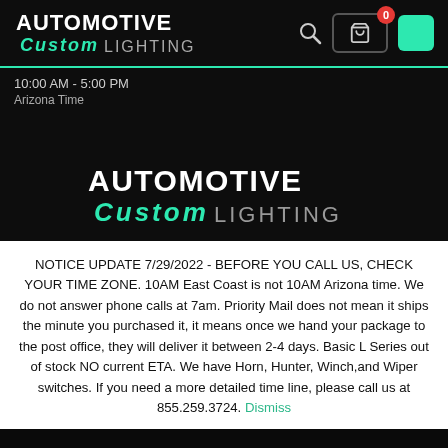[Figure (logo): Automotive Custom Lighting logo in header — white bold AUTOMOTIVE text, teal italic Custom, white LIGHTING text]
10:00 AM - 5:00 PM
Arizona Time
[Figure (logo): Automotive Custom Lighting logo centered — white bold AUTOMOTIVE text, teal italic Custom, gray LIGHTING text]
NOTICE UPDATE 7/29/2022 - BEFORE YOU CALL US, CHECK YOUR TIME ZONE. 10AM East Coast is not 10AM Arizona time. We do not answer phone calls at 7am. Priority Mail does not mean it ships the minute you purchased it, it means once we hand your package to the post office, they will deliver it between 2-4 days. Basic L Series out of stock NO current ETA. We have Horn, Hunter, Winch,and Wiper switches. If you need a more detailed time line, please call us at 855.259.3724. Dismiss